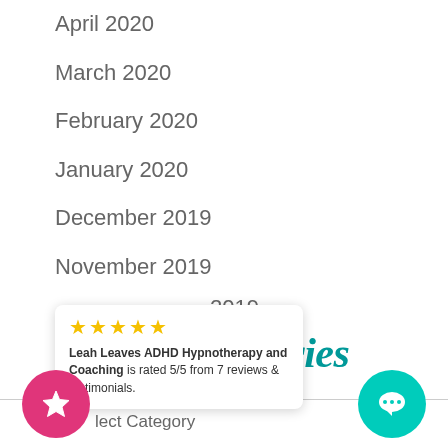April 2020
March 2020
February 2020
January 2020
December 2019
November 2019
2019
ber 2019
★★★★★
Leah Leaves ADHD Hypnotherapy and Coaching is rated 5/5 from 7 reviews & testimonials.
Categories
lect Category